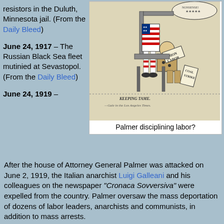resistors in the Duluth, Minnesota jail. (From the Daily Bleed)
June 24, 1917 – The Russian Black Sea fleet mutinied at Sevastopol. (From the Daily Bleed)
[Figure (illustration): Historical political cartoon showing Palmer disciplining labor, a skeletal or suited figure with stars-and-stripes pants spanking a figure labeled 'Union Labor' who holds a sign reading 'Coal Strike'. Caption: 'KEEPING TAME. —Gale in the Los Angeles Times.']
Palmer disciplining labor?
June 24, 1919 – After the house of Attorney General Palmer was attacked on June 2, 1919, the Italian anarchist Luigi Galleani and his colleagues on the newspaper "Cronaca Sovversiva" were expelled from the country. Palmer oversaw the mass deportation of dozens of labor leaders, anarchists and communists, in addition to mass arrests.